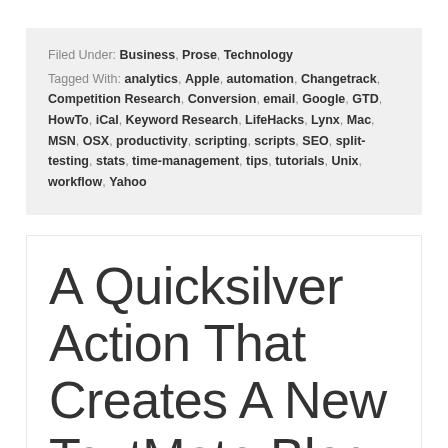Filed Under: Business, Prose, Technology
Tagged With: analytics, Apple, automation, Changetrack, Competition Research, Conversion, email, Google, GTD, HowTo, iCal, Keyword Research, LifeHacks, Lynx, Mac, MSN, OSX, productivity, scripting, scripts, SEO, split-testing, stats, time-management, tips, tutorials, Unix, workflow, Yahoo
A Quicksilver Action That Creates A New TextMate Blog Post